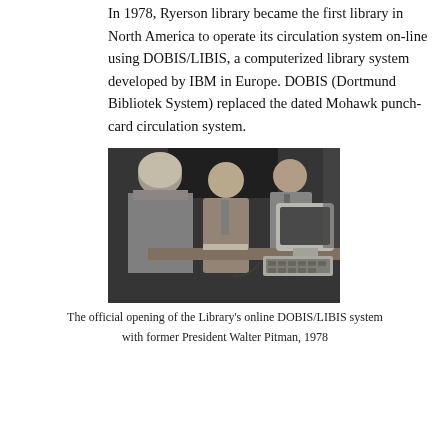In 1978, Ryerson library became the first library in North America to operate its circulation system on-line using DOBIS/LIBIS, a computerized library system developed by IBM in Europe. DOBIS (Dortmund Bibliotek System) replaced the dated Mohawk punch-card circulation system.
[Figure (photo): Black and white photograph of the official opening of the Library's online DOBIS/LIBIS system. Three people are visible: a woman with her back to the camera on the left, a smiling man in a suit jacket in the centre leaning over a desk, and another man in a suit on the right. An early computer terminal with keyboard and monitor is visible on the desk.]
The official opening of the Library's online DOBIS/LIBIS system with former President Walter Pitman, 1978